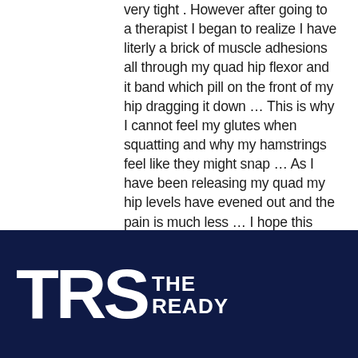very tight . However after going to a therapist I began to realize I have literly a brick of muscle adhesions all through my quad hip flexor and it band which pill on the front of my hip dragging it down … This is why I cannot feel my glutes when squatting and why my hamstrings feel like they might snap … As I have been releasing my quad my hip levels have evened out and the pain is much less … I hope this may help you In Your journey I know as well as anyone how frustrating finding the answer to something like this is 🗙
[Figure (logo): TRS The Ready logo in white on dark navy background]